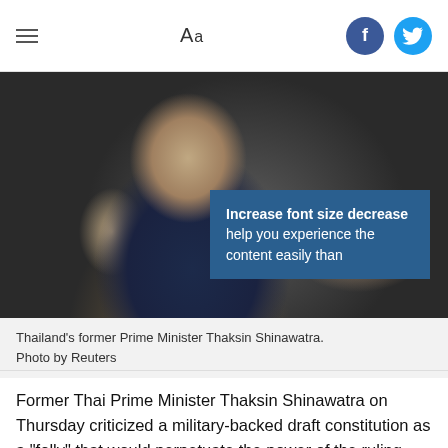Aa
[Figure (photo): Thailand's former Prime Minister Thaksin Shinawatra gesturing with hands while seated, wearing a dark suit, photo by Reuters. A blue tooltip overlay reads: Increase font size decrease help you experience the content easily than]
Thailand's former Prime Minister Thaksin Shinawatra. Photo by Reuters
Former Thai Prime Minister Thaksin Shinawatra on Thursday criticized a military-backed draft constitution as a "folly" that would perpetuate the power of the ruling junta and make it impossible for future elected governments to rule.